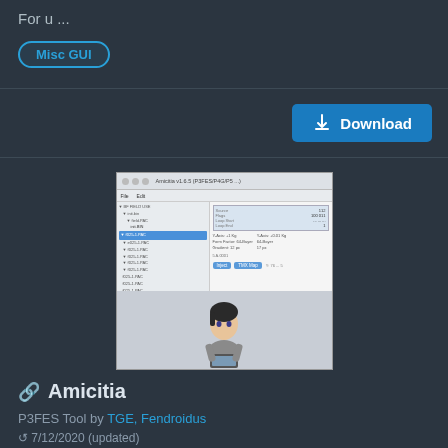For u ...
Misc GUI
[Figure (screenshot): Screenshot of Amicitia software tool showing a tree panel on the left and data panels on the right, with a 3D character rendering in the lower portion]
🔗 Amicitia
P3FES Tool by TGE, Fendroidus
7/12/2020 (updated)
A multi-use tool for hacking Persona games. Can